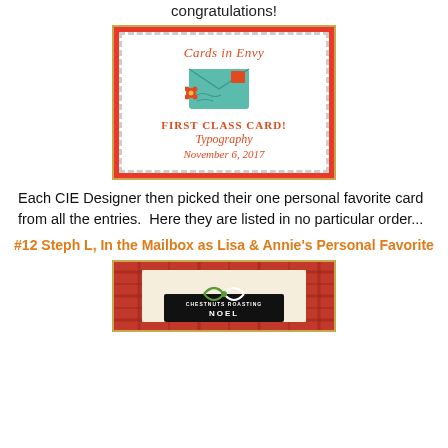congratulations!
[Figure (illustration): Cards in Envy stamp badge with envelope illustration, text: Cards in Envy, FIRST CLASS CARD!, Typography, November 6, 2017]
Each CIE Designer then picked their one personal favorite card from all the entries.  Here they are listed in no particular order...
#12 Steph L, In the Mailbox as Lisa & Annie's Personal Favorite
[Figure (photo): Photo of a handmade Christmas card with red plaid background, black label reading CHESTNUTS ROASTING NOEL, tied with green and white twine bow]